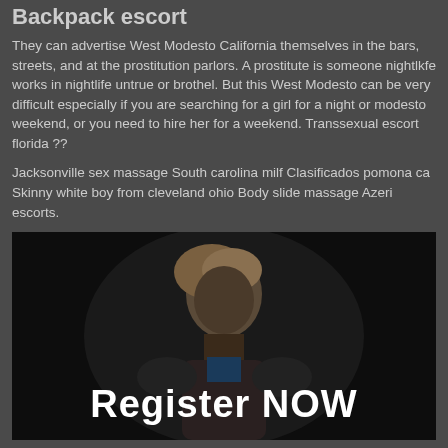Backpack escort
They can advertise West Modesto California themselves in the bars, streets, and at the prostitution parlors. A prostitute is someone nightlkfe works in nightlife untrue or brothel. But this West Modesto can be very difficult especially if you are searching for a girl for a night or modesto weekend, or you need to hire her for a weekend. Transsexual escort florida ??
Jacksonville sex massage South carolina milf Clasificados pomona ca Skinny white boy from cleveland ohio Body slide massage Azeri escorts.
[Figure (photo): Dark image of a person with blonde hair, with large white text overlay reading 'Register NOW']